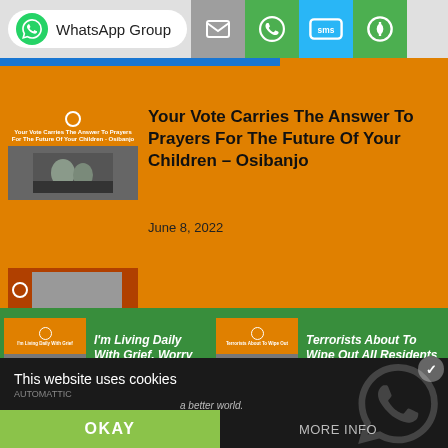WhatsApp Group | Email | WhatsApp | SMS | Share
Your Vote Carries The Answer To Prayers For The Future Of Your Children – Osibanjo
June 8, 2022
I'm Living Daily With Grief, Worry For Terrorism, Kidnapping…
Terrorists About To Wipe Out All Residents In Kaduna LGA – Chie…
This website uses cookies
AUTOMATTIC
a better world.
OKAY
MORE INFO